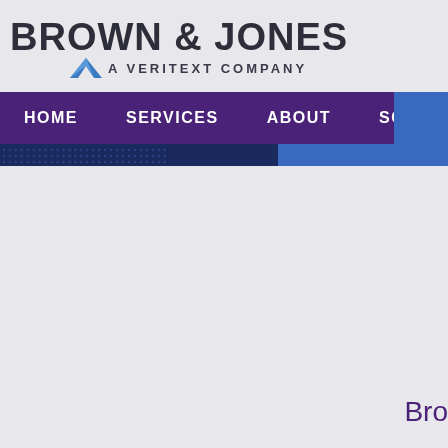[Figure (logo): Brown & Jones - A Veritext Company logo with blue chevron/arrow icon]
[Figure (screenshot): Navigation bar with purple background showing HOME, SERVICES, ABOUT, SCHEDULE menu items, followed by hero banner strip with dotted pattern and blue accent, and partial text 'Bro' at bottom right]
Bro